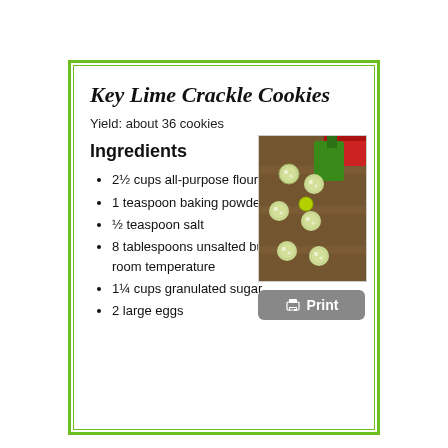Key Lime Crackle Cookies
Yield: about 36 cookies
Ingredients
2½ cups all-purpose flour
1 teaspoon baking powder
½ teaspoon salt
8 tablespoons unsalted butter (1 stick), room temperature
1¼ cups granulated sugar
2 large eggs
[Figure (photo): Photo of key lime crackle cookies on a baking sheet with limes and a green bag in the background]
Print